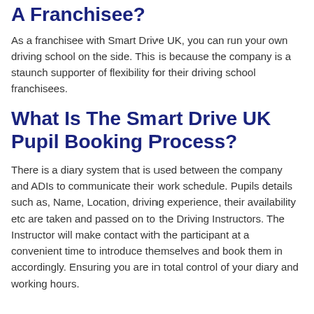A Franchisee?
As a franchisee with Smart Drive UK, you can run your own driving school on the side. This is because the company is a staunch supporter of flexibility for their driving school franchisees.
What Is The Smart Drive UK Pupil Booking Process?
There is a diary system that is used between the company and ADIs to communicate their work schedule. Pupils details such as, Name, Location, driving experience, their availability etc are taken and passed on to the Driving Instructors. The Instructor will make contact with the participant at a convenient time to introduce themselves and book them in accordingly. Ensuring you are in total control of your diary and working hours.